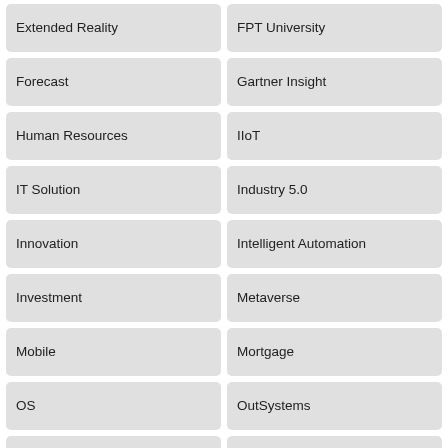Extended Reality
FPT University
Forecast
Gartner Insight
Human Resources
IIoT
IT Solution
Industry 5.0
Innovation
Intelligent Automation
Investment
Metaverse
Mobile
Mortgage
OS
OutSystems
Performance Efficiency
Quy Nhon
ROI
Reliability
Robotics
Sensor
Services
Telehealth
Touchless
Transformation
Virtual Reality
XDR
Zero Trust
akaWork